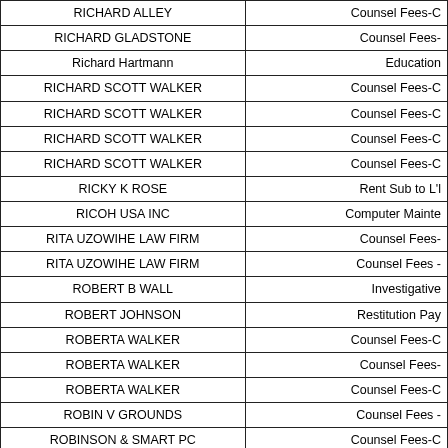| Name | Category |
| --- | --- |
| RICHARD ALLEY | Counsel Fees-C |
| RICHARD GLADSTONE | Counsel Fees- |
| Richard Hartmann | Education |
| RICHARD SCOTT WALKER | Counsel Fees-C |
| RICHARD SCOTT WALKER | Counsel Fees-C |
| RICHARD SCOTT WALKER | Counsel Fees-C |
| RICHARD SCOTT WALKER | Counsel Fees-C |
| RICKY K ROSE | Rent Sub to L'l |
| RICOH USA INC | Computer Mainte |
| RITA UZOWIHE LAW FIRM | Counsel Fees- |
| RITA UZOWIHE LAW FIRM | Counsel Fees - |
| ROBERT B WALL | Investigative |
| ROBERT JOHNSON | Restitution Pay |
| ROBERTA WALKER | Counsel Fees-C |
| ROBERTA WALKER | Counsel Fees- |
| ROBERTA WALKER | Counsel Fees-C |
| ROBIN V GROUNDS | Counsel Fees - |
| ROBINSON & SMART PC | Counsel Fees-C |
| ROBINSON & SMART PC | Counsel Fees-C |
| ROCKY MOUNTAIN MINERAL LAW | Law Books |
| RONALD COUCH | Counsel Fees-C |
| RONALD COUCH | Counsel Fees-C |
| RONALD COUCH | Counsel Fees-C |